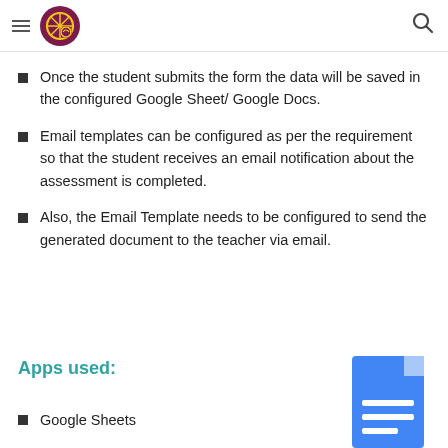Once the student submits the form the data will be saved in the configured Google Sheet/ Google Docs.
Email templates can be configured as per the requirement so that the student receives an email notification about the assessment is completed.
Also, the Email Template needs to be configured to send the generated document to the teacher via email.
Apps used:
Google Sheets
[Figure (logo): Google Docs blue document icon]